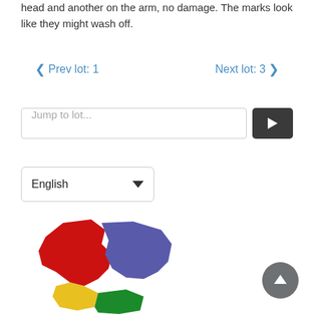head and another on the arm, no damage. The marks look like they might wash off.
< Prev lot: 1    Next lot: 3 >
[Figure (screenshot): Jump to lot input field with dark arrow button]
[Figure (screenshot): English language dropdown selector]
[Figure (map): Colorful regional map showing areas in red, blue/purple, yellow, and green]
[Figure (other): Scroll to top circular button with upward arrow]